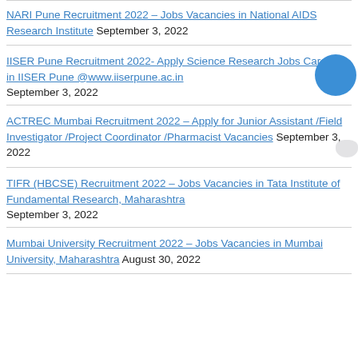NARI Pune Recruitment 2022 – Jobs Vacancies in National AIDS Research Institute September 3, 2022
IISER Pune Recruitment 2022- Apply Science Research Jobs Careers in IISER Pune @www.iiserpune.ac.in September 3, 2022
ACTREC Mumbai Recruitment 2022 – Apply for Junior Assistant /Field Investigator /Project Coordinator /Pharmacist Vacancies September 3, 2022
TIFR (HBCSE) Recruitment 2022 – Jobs Vacancies in Tata Institute of Fundamental Research, Maharashtra September 3, 2022
Mumbai University Recruitment 2022 – Jobs Vacancies in Mumbai University, Maharashtra August 30, 2022